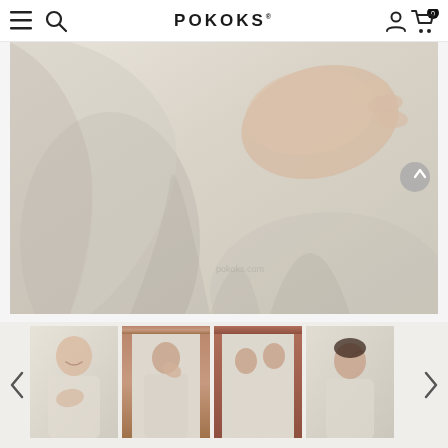POKOKS
[Figure (photo): Close-up photo of a person wearing a light beige/off-white baju kurung or similar traditional Malay garment. A hand with fingers slightly curled is placed on the chest/shoulder area. The fabric is soft and smooth. Background is light and minimal.]
[Figure (photo): Thumbnail 1: A woman smiling, wearing a white or light top, hand on chest, soft background.]
[Figure (photo): Thumbnail 2: A young man or boy in a light beige outfit, touching his face, with a warm-toned framed mirror in background.]
[Figure (photo): Thumbnail 3: Two people (likely a couple or siblings) in matching light beige traditional outfits standing together, warm-toned framed mirror in background.]
[Figure (photo): Thumbnail 4: A young boy in a light beige outfit looking upward, white/light background.]